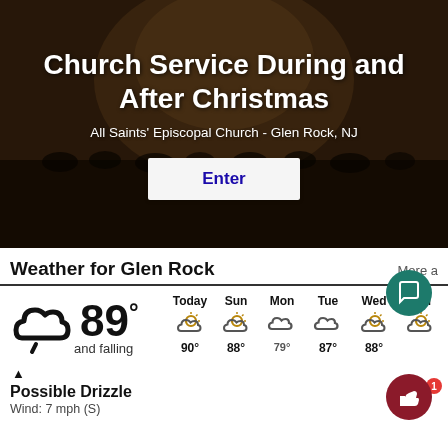Church Service During and After Christmas
All Saints' Episcopal Church - Glen Rock, NJ
Enter
Weather for Glen Rock
More a
89° and falling
Possible Drizzle
Wind: 7 mph (S)
| Today | Sun | Mon | Tue | Wed | Thu |
| --- | --- | --- | --- | --- | --- |
| 90° | 88° |  |  | 88° |  |
|  |  | 79° | 87° |  |  |